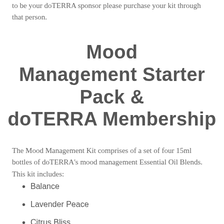to be your doTERRA sponsor please purchase your kit through that person.
Mood Management Starter Pack & doTERRA Membership
The Mood Management Kit comprises of a set of four 15ml bottles of doTERRA's mood management Essential Oil Blends. This kit includes:
Balance
Lavender Peace
Citrus Bliss